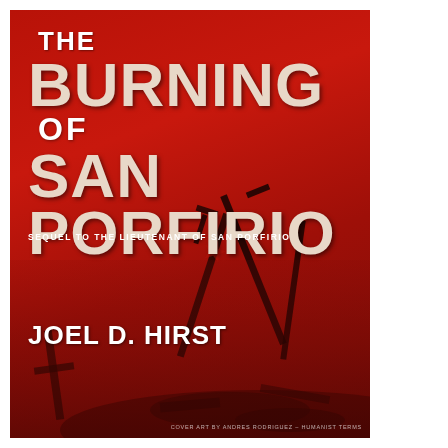[Figure (illustration): Book cover for 'The Burning of San Porfirio' by Joel D. Hirst. Deep red background with illustrated rifles/weapons and debris in silhouette in lower right. Large distressed white/cream title text at top left. Subtitle 'Sequel to the Lieutenant of San Porfirio' in small caps. Author name in bold white at lower left. Cover credit at bottom right: 'Cover art by Andres Rodriguez – Humanist Terms'.]